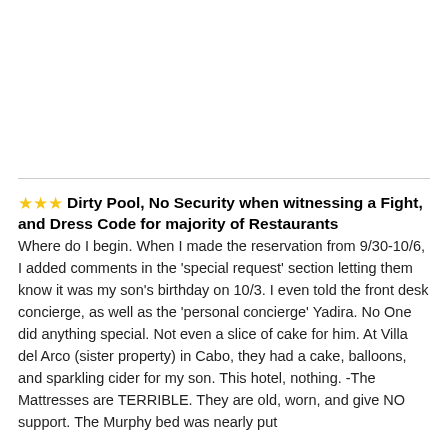★★★ Dirty Pool, No Security when witnessing a Fight, and Dress Code for majority of Restaurants
Where do I begin. When I made the reservation from 9/30-10/6, I added comments in the 'special request' section letting them know it was my son's birthday on 10/3. I even told the front desk concierge, as well as the 'personal concierge' Yadira. No One did anything special. Not even a slice of cake for him. At Villa del Arco (sister property) in Cabo, they had a cake, balloons, and sparkling cider for my son. This hotel, nothing. -The Mattresses are TERRIBLE. They are old, worn, and give NO support. The Murphy bed was nearly put